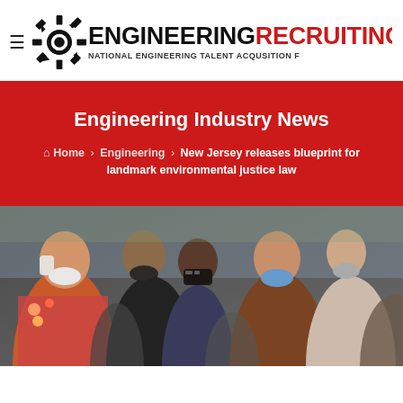[Figure (logo): Engineering Recruiting logo with gear icon, hamburger menu. Text: ENGINEERING in black bold, RECRUITING in red bold, subtitle: NATIONAL ENGINEERING TALENT ACQUSITION F]
Engineering Industry News
Home > Engineering > New Jersey releases blueprint for landmark environmental justice law
[Figure (photo): Group of people wearing face masks at an outdoor event, diverse crowd including women with floral clothing, blue masks, patterned masks]